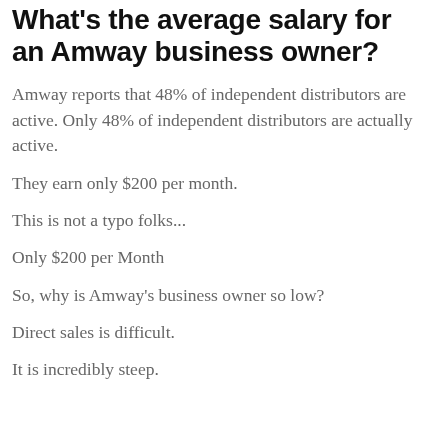What's the average salary for an Amway business owner?
Amway reports that 48% of independent distributors are active. Only 48% of independent distributors are actually active.
They earn only $200 per month.
This is not a typo folks...
Only $200 per Month
So, why is Amway's business owner so low?
Direct sales is difficult.
It is incredibly steep.